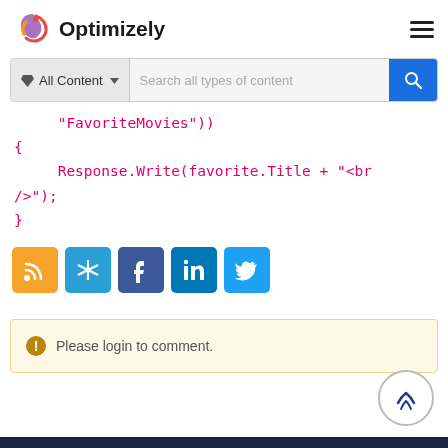[Figure (logo): Optimizely logo with colorful swirl icon and bold text 'Optimizely']
[Figure (screenshot): Search bar with 'All Content' filter dropdown and 'Search all types of content' placeholder, with blue search button]
"FavoriteMovies"))
{
    Response.Write(favorite.Title + "<br />");
}
[Figure (infographic): Row of social sharing icons: RSS (orange), share (teal), Facebook (blue), LinkedIn (blue), Twitter (light blue)]
Please login to comment.
[Figure (other): Back to top circular button with upward chevron icon]